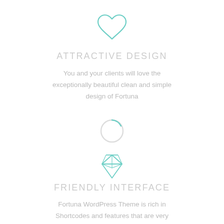[Figure (illustration): Outline heart icon in mint/teal color, centered near top of page]
ATTRACTIVE DESIGN
You and your clients will love the exceptionally beautiful clean and simple design of Fortuna
[Figure (illustration): Loading spinner circle icon, grey with teal arc at top, centered]
[Figure (illustration): Diamond/gem icon in mint/teal color, centered]
FRIENDLY INTERFACE
Fortuna WordPress Theme is rich in Shortcodes and features that are very intuitive and easy to implement